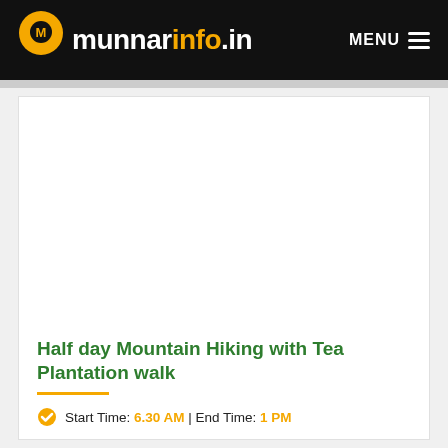munnarinfo.in — MENU
[Figure (screenshot): Advertisement placeholder area (white box)]
Half day Mountain Hiking with Tea Plantation walk
Start Time: 6.30 AM | End Time: 1 PM